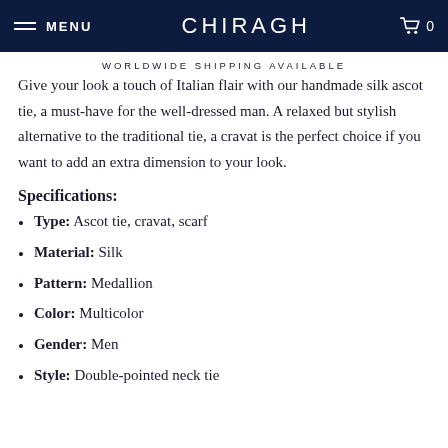MENU CHIRAGH 0
WORLDWIDE SHIPPING AVAILABLE
Give your look a touch of Italian flair with our handmade silk ascot tie, a must-have for the well-dressed man. A relaxed but stylish alternative to the traditional tie, a cravat is the perfect choice if you want to add an extra dimension to your look.
Specifications:
Type: Ascot tie, cravat, scarf
Material: Silk
Pattern: Medallion
Color: Multicolor
Gender: Men
Style: Double-pointed neck tie